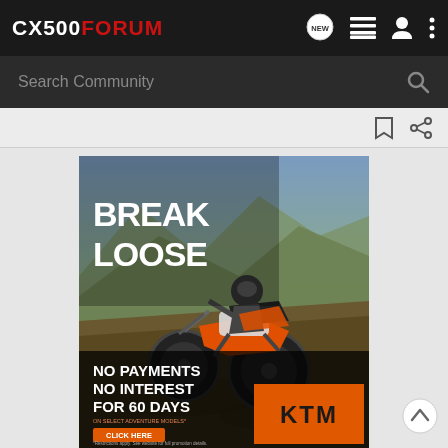CX500FORUM
Search Community
[Figure (screenshot): KTM motorcycle advertisement showing a rider on a KTM adventure bike on a mountain trail with text BREAK LOOSE, NO PAYMENTS NO INTEREST FOR 60 DAYS, CLICK HERE button, KTM logo on orange background, and fine print *Restrictions apply. See website for full promotion details.]